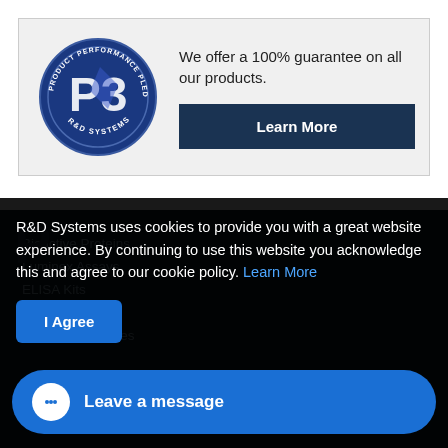[Figure (logo): P3 Product Performance Pledge R&D Systems circular logo in blue]
We offer a 100% guarantee on all our products.
Learn More
R&D Systems uses cookies to provide you with a great website experience. By continuing to use this website you acknowledge this and agree to our cookie policy. Learn More
I Agree
Bioactive Proteins
Luminex Assays
ELISA Kits
Small Molecule
Primary Antibodies
Leave a message